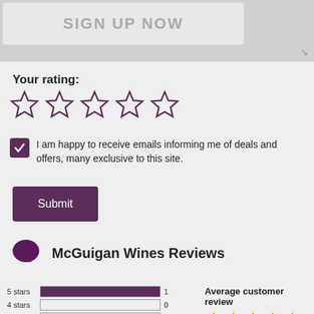[Figure (screenshot): Sign Up Now button banner at top of page]
Your rating:
[Figure (other): Five empty star outlines for user rating input]
I am happy to receive emails informing me of deals and offers, many exclusive to this site.
Submit
McGuigan Wines Reviews
[Figure (bar-chart): Star rating histogram]
Average customer review
[Figure (other): Five filled gold stars]
5.0 based on 1 reviews